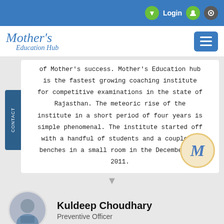Login
Mother's Education Hub
of Mother's success. Mother's Education hub is the fastest growing coaching institute for competitive examinations in the state of Rajasthan. The meteoric rise of the institute in a short period of four years is simple phenomenal. The institute started off with a handful of students and a couple of benches in a small room in the Decembers of 2011.
Kuldeep Choudhary
Preventive Officer